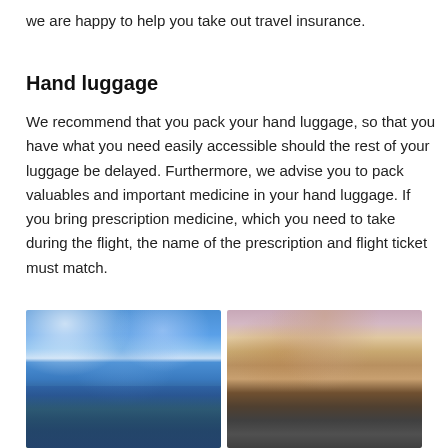we are happy to help you take out travel insurance.
Hand luggage
We recommend that you pack your hand luggage, so that you have what you need easily accessible should the rest of your luggage be delayed. Furthermore, we advise you to pack valuables and important medicine in your hand luggage. If you bring prescription medicine, which you need to take during the flight, the name of the prescription and flight ticket must match.
[Figure (photo): Aerial view of a blue lake surrounded by lush green forested hills with cloudy sky above]
[Figure (photo): Aerial view of a historic castle/fortress with red-tiled towers and arched bridge, with a city skyline in the background at sunset]